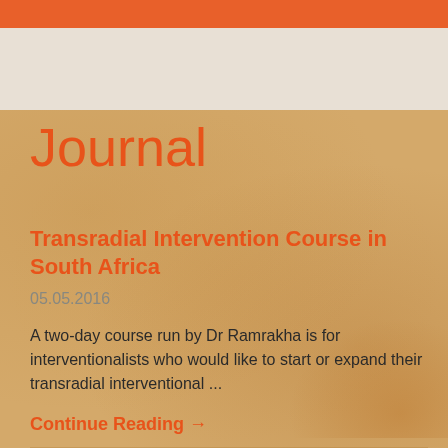Journal
Transradial Intervention Course in South Africa
05.05.2016
A two-day course run by Dr Ramrakha is for interventionalists who would like to start or expand their transradial interventional ...
Continue Reading →
Deaths from coronary heart disease